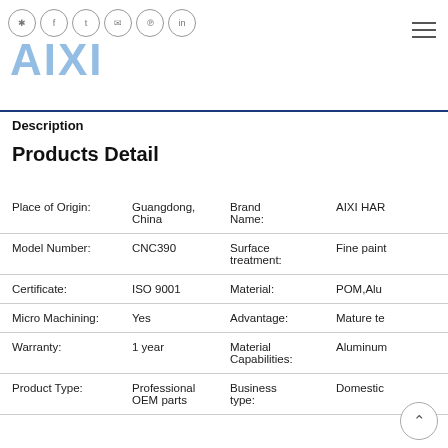AIXI HARDWARE — social icons and navigation header
Description
Products Detail
|  |  |  |  |
| --- | --- | --- | --- |
| Place of Origin: | Guangdong, China | Brand Name: | AIXI HAR... |
| Model Number: | CNC390 | Surface treatment: | Fine paint... |
| Certificate: | ISO 9001 | Material: | POM,Alu... |
| Micro Machining: | Yes | Advantage: | Mature te... |
| Warranty: | 1 year | Material Capabilities: | Aluminum... |
| Product Type: | Professional OEM parts | Business type: | Domestic... |